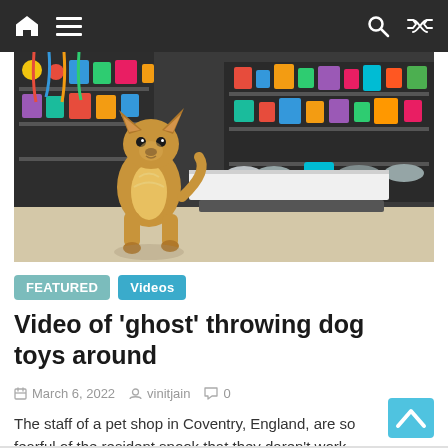Navigation bar with home, menu, search, and shuffle icons
[Figure (photo): A small golden/tan Chihuahua dog standing in a colorful pet shop, surrounded by shelves of pet toys, collars, leashes, and accessories in bright colors.]
FEATURED
Videos
Video of ‘ghost’ throwing dog toys around
March 6, 2022   vinitjain   0
The staff of a pet shop in Coventry, England, are so fearful of the resident spook that they daren’t work